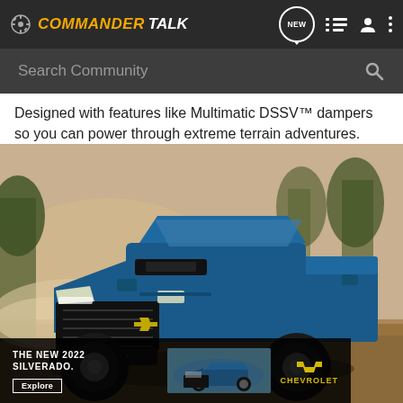COMMANDER TALK — navigation header with search bar
Designed with features like Multimatic DSSV™ dampers so you can power through extreme terrain adventures.
[Figure (photo): A blue Chevrolet Silverado off-road truck driving on a dusty dirt trail through a forest, with a Chevrolet The New 2022 Silverado advertisement banner overlay at the bottom.]